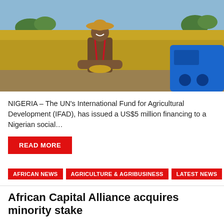[Figure (photo): A smiling farmer wearing a straw hat holds grain in his hands, standing in a golden rice field with a blue agricultural machine to the right and trees in the background.]
NIGERIA – The UN's International Fund for Agricultural Development (IFAD), has issued a US$5 million financing to a Nigerian social…
READ MORE
AFRICAN NEWS | Agriculture & Agribusiness | LATEST NEWS
African Capital Alliance acquires minority stake